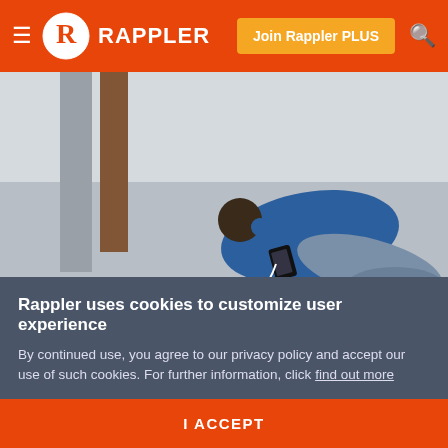Rappler
[Figure (photo): A person kneeling/lying on a concrete floor, wearing a blue hoodie and grey jeans, using a phone while earphones hang down. Wooden and concrete pillars visible in background.]
CONTEMPLATION. Activist Matt Harper, with community group The Los Angeles Catholic Worker, livestreams from his phone while re-enacting the Stations of the Cross alone amidst the coronavirus pandemic on April 10, 2020 in Los Angeles, California. Photo by Mario Tama/Getty Images/AFP
Rappler uses cookies to customize user experience
By continued use, you agree to our privacy policy and accept our use of such cookies. For further information, click find out more
I ACCEPT